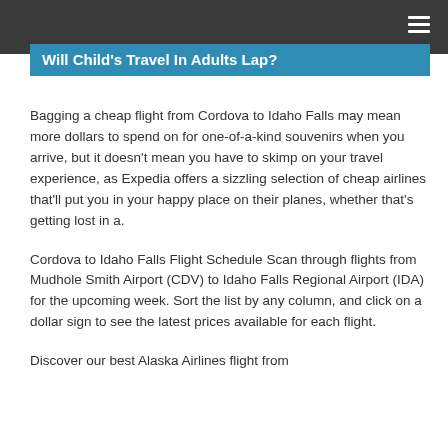Will Child's Travel In Adults Lap?
Bagging a cheap flight from Cordova to Idaho Falls may mean more dollars to spend on for one-of-a-kind souvenirs when you arrive, but it doesn't mean you have to skimp on your travel experience, as Expedia offers a sizzling selection of cheap airlines that'll put you in your happy place on their planes, whether that's getting lost in a.
Cordova to Idaho Falls Flight Schedule Scan through flights from Mudhole Smith Airport (CDV) to Idaho Falls Regional Airport (IDA) for the upcoming week. Sort the list by any column, and click on a dollar sign to see the latest prices available for each flight.
Discover our best Alaska Airlines flight from